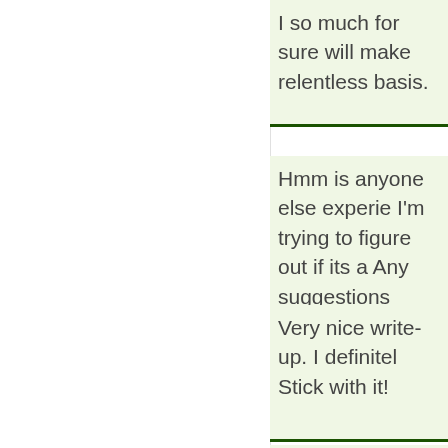I so much for sure will make relentless basis.
Hmm is anyone else experiencing I'm trying to figure out if its a Any suggestions would be gr
Very nice write-up. I definitely Stick with it!
Hi to every one, the contents genuinely remarkable for peo
Hey! I could have sworn I've reading through some of the Nonetheless, I'm definitely